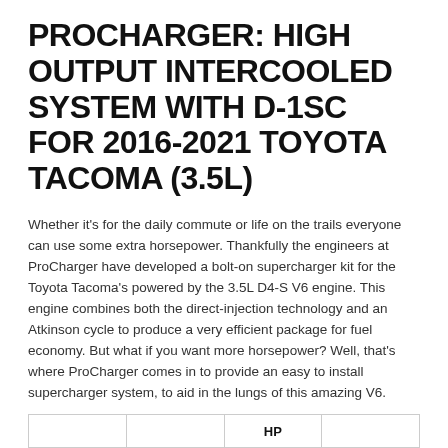PROCHARGER: HIGH OUTPUT INTERCOOLED SYSTEM WITH D-1SC FOR 2016-2021 TOYOTA TACOMA (3.5L)
Whether it's for the daily commute or life on the trails everyone can use some extra horsepower. Thankfully the engineers at ProCharger have developed a bolt-on supercharger kit for the Toyota Tacoma's powered by the 3.5L D4-S V6 engine. This engine combines both the direct-injection technology and an Atkinson cycle to produce a very efficient package for fuel economy. But what if you want more horsepower? Well, that's where ProCharger comes in to provide an easy to install supercharger system, to aid in the lungs of this amazing V6.
|  |  | HP |  |
| --- | --- | --- | --- |
|  |  |  |  |